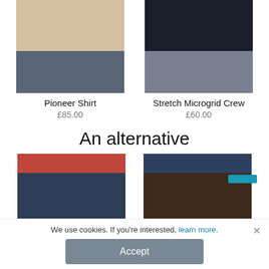[Figure (photo): Pioneer Shirt product photo - man wearing beige shirt and dark pants, cropped at waist]
Pioneer Shirt
£85.00
[Figure (photo): Stretch Microgrid Crew product photo - man wearing dark navy top and grey pants, cropped at waist]
Stretch Microgrid Crew
£60.00
An alternative
[Figure (photo): Navy pants product photo - man wearing red shirt and navy trousers, cropped to show pants]
[Figure (photo): Brown/dark pants product photo - man wearing dark navy top and brown trousers, cropped to show pants]
We use cookies. If you're interested, learn more.
Accept